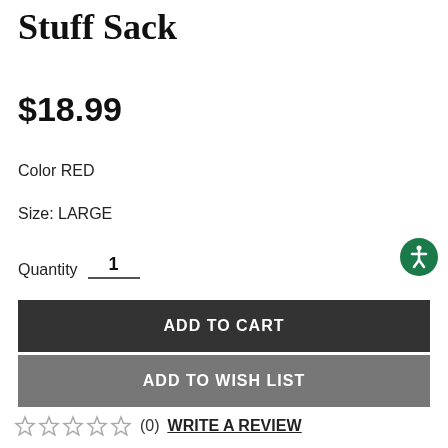Stuff Sack
$18.99
Color RED
Size: LARGE
Quantity 1
ADD TO CART
ADD TO WISH LIST
(0) WRITE A REVIEW